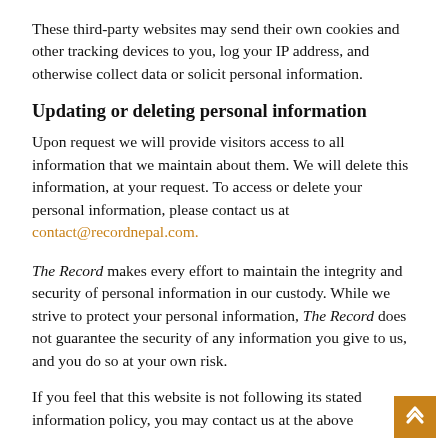These third-party websites may send their own cookies and other tracking devices to you, log your IP address, and otherwise collect data or solicit personal information.
Updating or deleting personal information
Upon request we will provide visitors access to all information that we maintain about them. We will delete this information, at your request. To access or delete your personal information, please contact us at contact@recordnepal.com.
The Record makes every effort to maintain the integrity and security of personal information in our custody. While we strive to protect your personal information, The Record does not guarantee the security of any information you give to us, and you do so at your own risk.
If you feel that this website is not following its stated information policy, you may contact us at the above